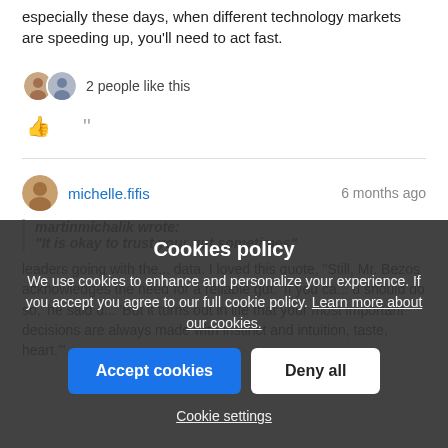especially these days, when different technology markets are speeding up, you'll need to act fast.
2 people like this
michelle.fifis  6 months ago
martinmichalik wrote: "It is okay to trust your gut sometimes"
leaders going with the... data. I loved this quote, "Still, Mr. Bezos acknowledges the need for a reliable gut. 'If you ca... u should do so,' he said d... 'But it turns out in life that your most important decisions are always made with instinct and intuition, taste, heart.'"
Cookies policy
We use cookies to enhance and personalize your experience. If you accept you agree to our full cookie policy. Learn more about our cookies.
Accept cookies  Deny all
Cookie settings